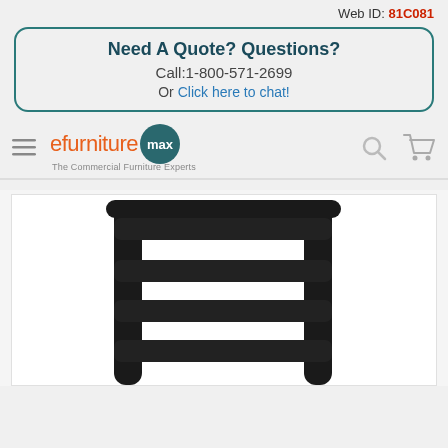Web ID: 81C081
Need A Quote? Questions?
Call:1-800-571-2699
Or Click here to chat!
[Figure (logo): efurnituremax logo with teal circular badge and tagline 'The Commercial Furniture Experts']
[Figure (photo): Close-up photo of a black ladder-back chair, showing the back slats and frame against a white background]